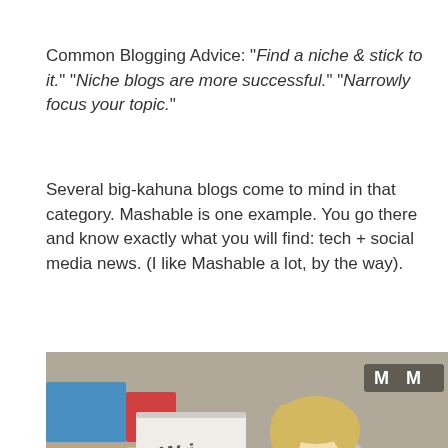Common Blogging Advice: "Find a niche & stick to it." "Niche blogs are more successful." "Narrowly focus your topic."
Several big-kahuna blogs come to mind in that category. Mashable is one example. You go there and know exactly what you will find: tech + social media news. (I like Mashable a lot, by the way).
[Figure (photo): A young blonde child sitting on the floor surrounded by colorful books, crayons, and art supplies, drawing or coloring in a sketchbook. A watermark 'M M' appears in the upper right of the image.]